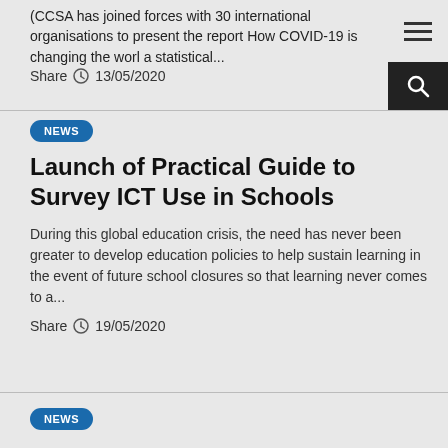(CCSA has joined forces with 30 international organisations to present the report How COVID-19 is changing the world: a statistical...
Share 13/05/2020
NEWS
Launch of Practical Guide to Survey ICT Use in Schools
During this global education crisis, the need has never been greater to develop education policies to help sustain learning in the event of future school closures so that learning never comes to a...
Share 19/05/2020
NEWS